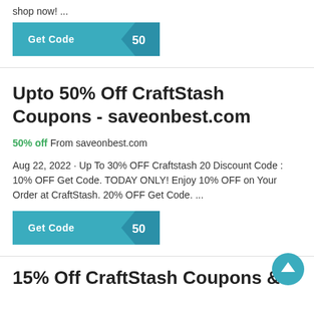shop now! ...
[Figure (other): Get Code button with '50' badge, teal color]
Upto 50% Off CraftStash Coupons - saveonbest.com
50% off From saveonbest.com
Aug 22, 2022 · Up To 30% OFF Craftstash 20 Discount Code : 10% OFF Get Code. TODAY ONLY! Enjoy 10% OFF on Your Order at CraftStash. 20% OFF Get Code. ...
[Figure (other): Get Code button with '50' badge, teal color]
15% Off CraftStash Coupons &
[Figure (other): Scroll to top circular button, teal color with up arrow]